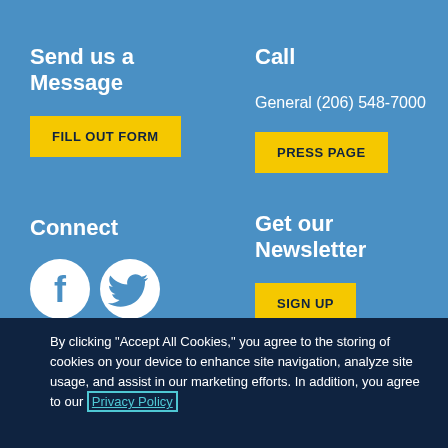Send us a Message
FILL OUT FORM
Call
General (206) 548-7000
PRESS PAGE
Connect
[Figure (illustration): Social media icons: Facebook, Twitter, LinkedIn, YouTube, Instagram]
Get our Newsletter
SIGN UP
By clicking “Accept All Cookies,” you agree to the storing of cookies on your device to enhance site navigation, analyze site usage, and assist in our marketing efforts. In addition, you agree to our Privacy Policy